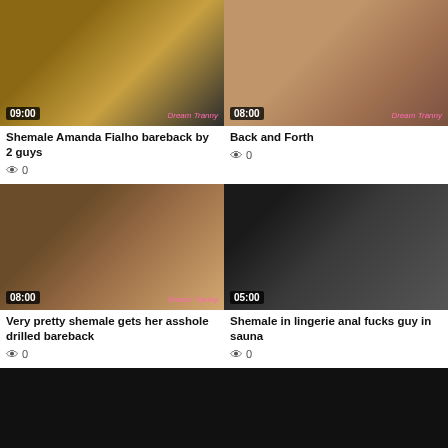[Figure (photo): Video thumbnail with duration 09:00 and Dream Tranny watermark]
Shemale Amanda Fialho bareback by 2 guys
0
[Figure (photo): Video thumbnail with duration 08:00 and Dream Tranny watermark]
Back and Forth
0
[Figure (photo): Video thumbnail with duration 08:00 and Dream Tranny watermark]
Very pretty shemale gets her asshole drilled bareback
0
[Figure (photo): Video thumbnail with duration 05:00]
Shemale in lingerie anal fucks guy in sauna
0
[Figure (photo): Black video thumbnail]
[Figure (photo): Black video thumbnail]